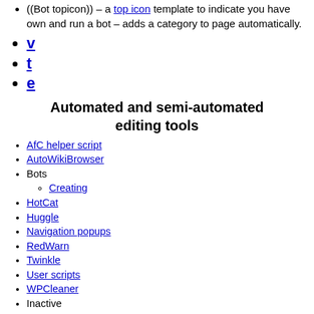((Bot topicon)) – a top icon template to indicate you have own and run a bot – adds a category to page automatically.
v
t
e
Automated and semi-automated editing tools
AfC helper script
AutoWikiBrowser
Bots
Creating
HotCat
Huggle
Navigation popups
RedWarn
Twinkle
User scripts
WPCleaner
Inactive
igloo
STiki